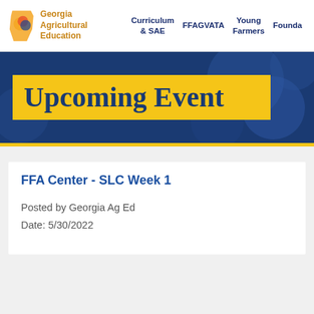Georgia Agricultural Education | Curriculum & SAE | FFAGVATA | Young Farmers | Foundation
[Figure (screenshot): Georgia Agricultural Education website header with logo and navigation links]
Upcoming Event
FFA Center - SLC Week 1
Posted by Georgia Ag Ed
Date: 5/30/2022